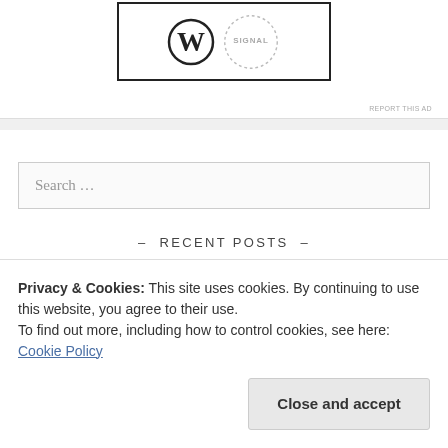[Figure (logo): WordPress logo (W in circle) and Signal logo (dotted circle with SIGNAL text) inside a bordered box. Small 'REPORT THIS AD' text below right.]
Search …
- RECENT POSTS -
Gullies – All of Edinburgh's 63 Councillors could do
Privacy & Cookies: This site uses cookies. By continuing to use this website, you agree to their use.
To find out more, including how to control cookies, see here:
Cookie Policy
Close and accept